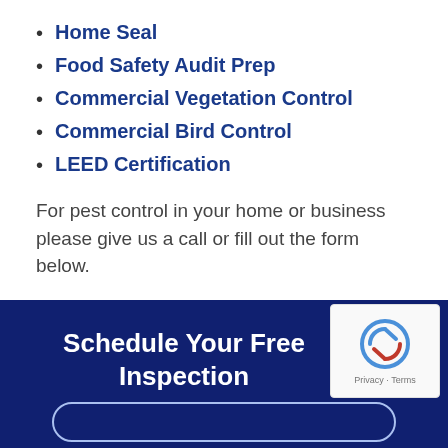Home Seal
Food Safety Audit Prep
Commercial Vegetation Control
Commercial Bird Control
LEED Certification
For pest control in your home or business please give us a call or fill out the form below.
At Schendel Pest Services, we understand the pests of Belton and the most effective ways to control them. We'll leave your home pest-free, ensuring that you and your family are happy for years to come.
Schedule Your Free Inspection